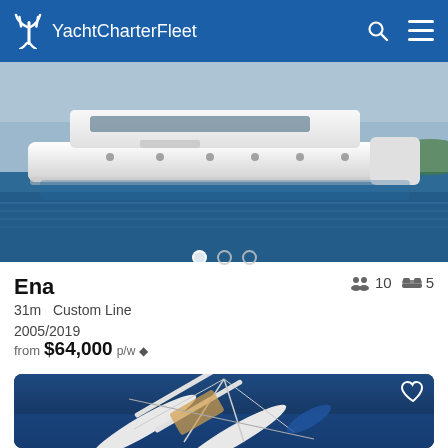YachtCharterFleet
[Figure (photo): Aerial/side view of a large white motor yacht named Ena on calm blue water]
Ena
31m  Custom Line
2005/2019
from $64,000 p/w ◆
[Figure (photo): Aerial top-down view of a white sailing catamaran on deep blue water]